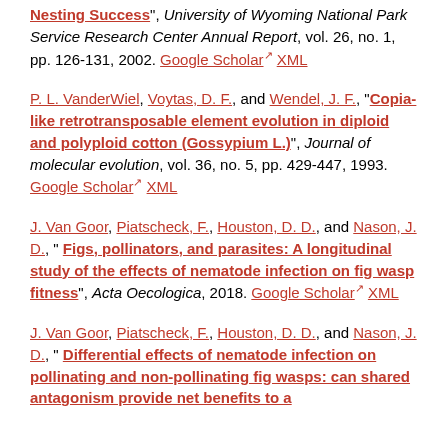Nesting Success", University of Wyoming National Park Service Research Center Annual Report, vol. 26, no. 1, pp. 126-131, 2002. Google Scholar XML
P. L. VanderWiel, Voytas, D. F., and Wendel, J. F., "Copia-like retrotransposable element evolution in diploid and polyploid cotton (Gossypium L.)", Journal of molecular evolution, vol. 36, no. 5, pp. 429-447, 1993. Google Scholar XML
J. Van Goor, Piatscheck, F., Houston, D. D., and Nason, J. D., "Figs, pollinators, and parasites: A longitudinal study of the effects of nematode infection on fig wasp fitness", Acta Oecologica, 2018. Google Scholar XML
J. Van Goor, Piatscheck, F., Houston, D. D., and Nason, J. D., "Differential effects of nematode infection on pollinating and non-pollinating fig wasps: can shared antagonism provide net benefits to a...